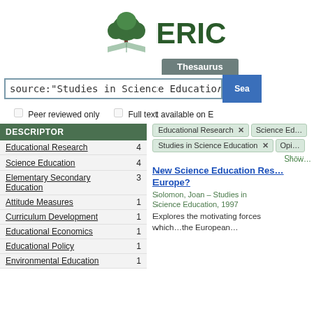[Figure (logo): ERIC logo with tree and open book icon, green text]
Thesaurus
source:"Studies in Science Education [search input]" [Search button]
Peer reviewed only   Full text available on E
| DESCRIPTOR |  |
| --- | --- |
| Educational Research | 4 |
| Science Education | 4 |
| Elementary Secondary Education | 3 |
| Attitude Measures | 1 |
| Curriculum Development | 1 |
| Educational Economics | 1 |
| Educational Policy | 1 |
| Environmental Education | 1 |
Educational Research ×   Science Ed…   Studies in Science Education ×   Opi…
Show…
New Science Education Res… Europe?
Solomon, Joan – Studies in Science Education, 1997
Explores the motivating forces which…the European…